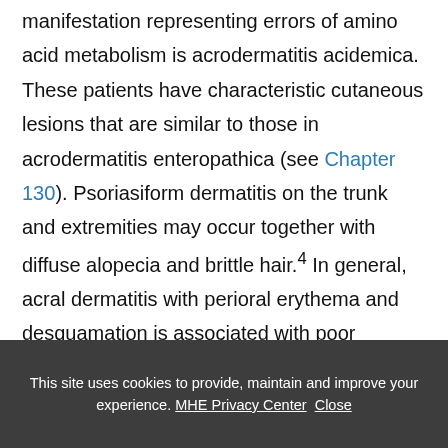manifestation representing errors of amino acid metabolism is acrodermatitis acidemica. These patients have characteristic cutaneous lesions that are similar to those in acrodermatitis enteropathica (see Chapter 130). Psoriasiform dermatitis on the trunk and extremities may occur together with diffuse alopecia and brittle hair.4 In general, acral dermatitis with perioral erythema and desquamation is associated with poor feeding, lethargy, hypotonia, vomiting, and dehydration.
This site uses cookies to provide, maintain and improve your experience. MHE Privacy Center  Close